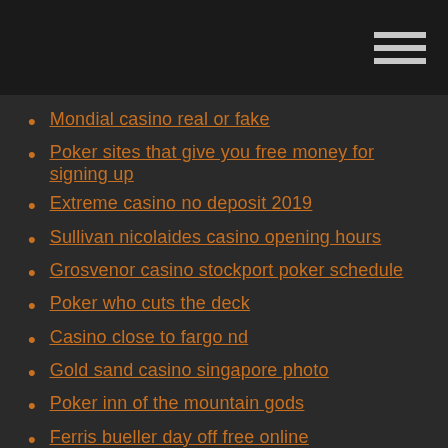Mondial casino real or fake
Poker sites that give you free money for signing up
Extreme casino no deposit 2019
Sullivan nicolaides casino opening hours
Grosvenor casino stockport poker schedule
Poker who cuts the deck
Casino close to fargo nd
Gold sand casino singapore photo
Poker inn of the mountain gods
Ferris bueller day off free online
Old casino asbury park nj
Kiowa casino devol ok employment
Casino games buy online
Black and white jack russell cross chihuahua